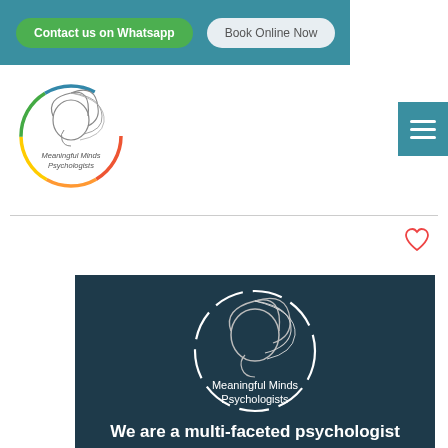[Figure (screenshot): Website header with teal background containing a green 'Contact us on Whatsapp' button and a light grey 'Book Online Now' button]
[Figure (logo): Meaningful Minds Psychologists circular logo with rainbow-colored ring and stylized face/hair illustration, on white background]
[Figure (logo): Blue square hamburger menu icon with three white horizontal lines]
[Figure (logo): Meaningful Minds Psychologists large logo on dark teal background with white circular ring and text 'We are a multi-faceted psychologist']